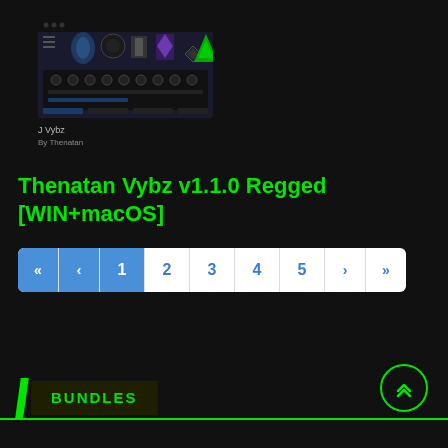[Figure (screenshot): Screenshot of the Thenatan Vybz plugin UI showing synthesizer/effect interface with various knobs and icons on a dark background]
J Vybz
By Thenatan
Thenatan Vybz v1.1.0 Regged [WIN+macOS]
« ‹ 1 2 3 4 5 › »
BUNDLES